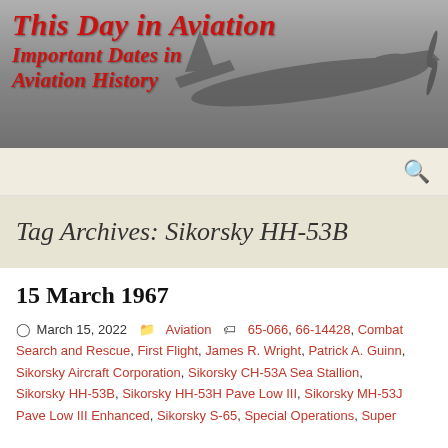This Day in Aviation
Important Dates in Aviation History
Tag Archives: Sikorsky HH-53B
15 March 1967
March 15, 2022  Aviation  65-066, 66-14428, Combat Search and Rescue, First Flight, James R. Wright, Patrick A. Guinn, Sikorsky Aircraft Corporation, Sikorsky CH-53A Sea Stallion, Sikorsky HH-53B, Sikorsky HH-53H Pave Low III, Sikorsky MH-53J Pave Low III Enhanced, Sikorsky S-65, Special Operations, Super